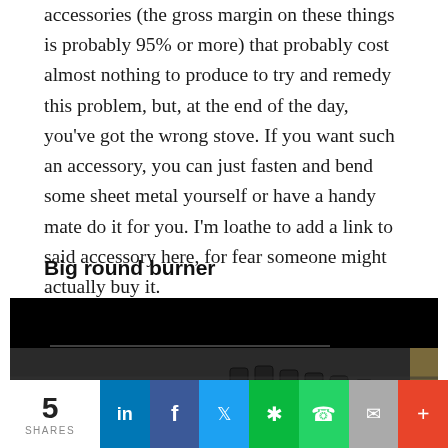accessories (the gross margin on these things is probably 95% or more) that probably cost almost nothing to produce to try and remedy this problem, but, at the end of the day, you've got the wrong stove. If you want such an accessory, you can just fasten and bend some sheet metal yourself or have a handy mate do it for you. I'm loathe to add a link to said accessory here, for fear someone might actually buy it.
Big round burner
[Figure (photo): Close-up photo of a gas stove cooktop with dark cast iron grates and blue gas burner flames visible, against a black background.]
5 SHARES | LinkedIn | Facebook | Twitter | WeChat | WhatsApp | Email | More